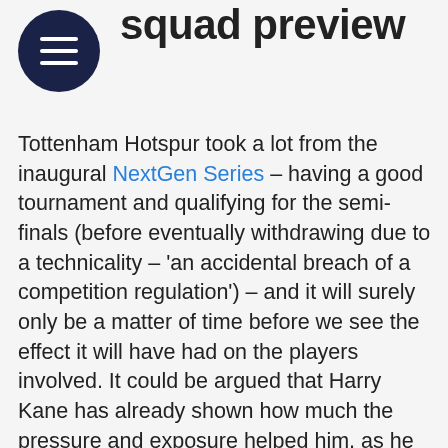squad preview
Tottenham Hotspur took a lot from the inaugural NextGen Series – having a good tournament and qualifying for the semi-finals (before eventually withdrawing due to a technicality – 'an accidental breach of a competition regulation') – and it will surely only be a matter of time before we see the effect it will have had on the players involved. It could be argued that Harry Kane has already shown how much the pressure and exposure helped him, as he settled so quickly at Championship club Millwall in the second half of the season. Likewise, Massimo Luongo – one of Spurs' most consistent performers in the tournament – has